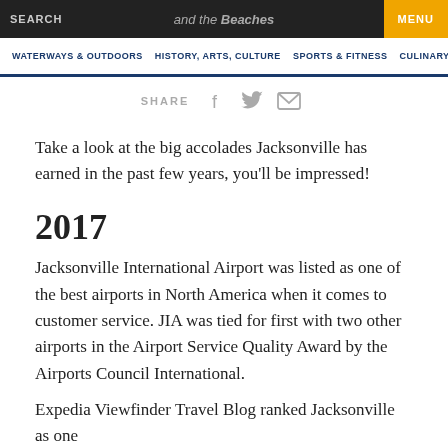SEARCH | and the Beaches | MENU
WATERWAYS & OUTDOORS | HISTORY, ARTS, CULTURE | SPORTS & FITNESS | CULINARY/BREWERIES
SHARE
Take a look at the big accolades Jacksonville has earned in the past few years, you'll be impressed!
2017
Jacksonville International Airport was listed as one of the best airports in North America when it comes to customer service. JIA was tied for first with two other airports in the Airport Service Quality Award by the Airports Council International.
Expedia Viewfinder Travel Blog ranked Jacksonville as one